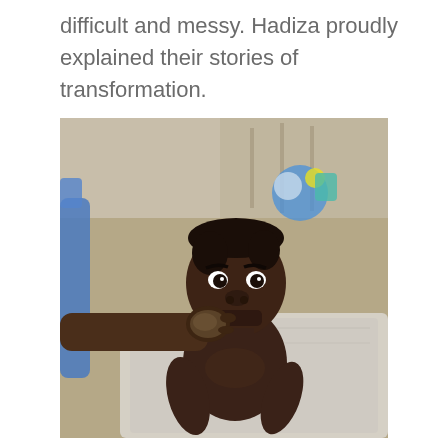difficult and messy. Hadiza proudly explained their stories of transformation.
[Figure (photo): A young toddler/infant sitting on a mat outdoors, shirtless, with an adult hand feeding the child food. The child has an expressive, intense look on their face. The background shows an outdoor setting with colorful objects and sandy ground.]